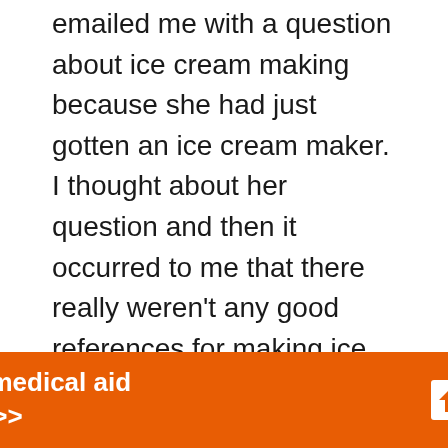emailed me with a question about ice cream making because she had just gotten an ice cream maker. I thought about her question and then it occurred to me that there really weren't any good references for making ice cream online that I knew of. I had been wanting to start a blog for a while, but I didn't know about what, so suddenly it hit me: ICE CREAM! I told Husband and Best Friend From High School BUT…in my process of thinking about this over the course of a day, out of the blue Tina emailed me and told me she had started
[Figure (infographic): Orange advertisement banner: 'Help send medical aid to Ukraine >>' with Direct Relief logo]